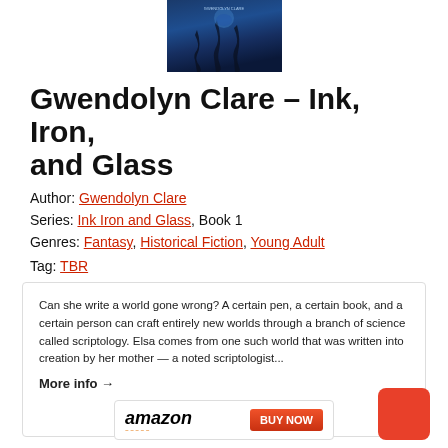[Figure (photo): Book cover of Ink, Iron, and Glass by Gwendolyn Clare, featuring a dark blue background with ink drip effects]
Gwendolyn Clare – Ink, Iron, and Glass
Author: Gwendolyn Clare
Series: Ink Iron and Glass, Book 1
Genres: Fantasy, Historical Fiction, Young Adult
Tag: TBR
Can she write a world gone wrong? A certain pen, a certain book, and a certain person can craft entirely new worlds through a branch of science called scriptology. Elsa comes from one such world that was written into creation by her mother — a noted scriptologist...
More info →
[Figure (logo): Amazon BUY NOW button]